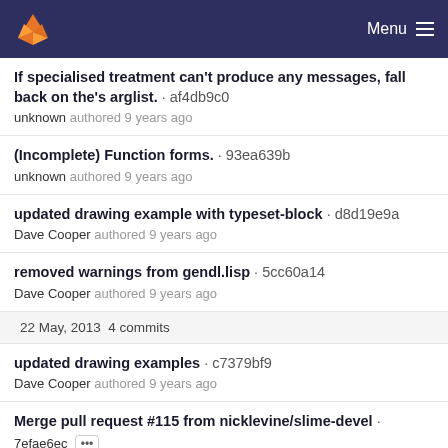GitLab navigation bar with logo and Menu
If specialised treatment can't produce any messages, fall back on the's arglist. · af4db9c0
unknown authored 9 years ago
(Incomplete) Function forms. · 93ea639b
unknown authored 9 years ago
updated drawing example with typeset-block · d8d19e9a
Dave Cooper authored 9 years ago
removed warnings from gendl.lisp · 5cc60a14
Dave Cooper authored 9 years ago
22 May, 2013 4 commits
updated drawing examples · c7379bf9
Dave Cooper authored 9 years ago
Merge pull request #115 from nicklevine/slime-devel · 7efae6ec •••